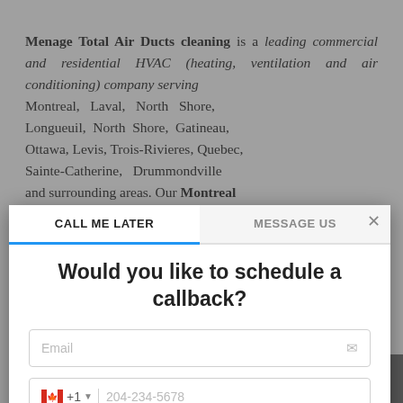Menage Total Air Ducts cleaning is a leading commercial and residential HVAC (heating, ventilation and air conditioning) company serving Montreal, Laval, North Shore, Longueuil, North Shore, Gatineau, Ottawa, Levis, Trois-Rivieres, Quebec, Sainte-Catherine, Drummondville and surrounding areas. Our Montreal duct cleaners are committed to guaranteeing clients appreciate services and cost funds for a considerable length of time. Our organization puts global first-rate nature of legitimate best
[Figure (screenshot): A modal dialog with tabs 'CALL ME LATER' and 'MESSAGE US', containing a callback scheduling form with title 'Would you like to schedule a callback?', email input field, phone number input with Canadian flag and +1 prefix showing '204-234-5678', and date/time dropdowns set to 'Today' and '13:00', plus a blue submit button at bottom.]